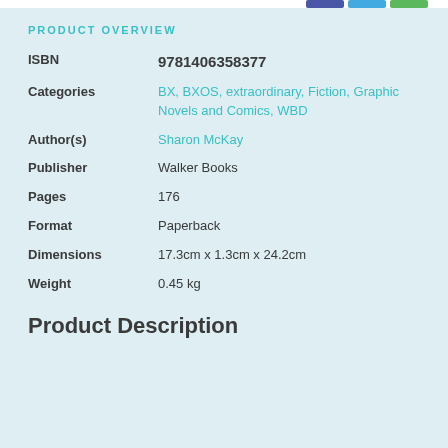PRODUCT OVERVIEW
| Field | Value |
| --- | --- |
| ISBN | 9781406358377 |
| Categories | BX, BXOS, extraordinary, Fiction, Graphic Novels and Comics, WBD |
| Author(s) | Sharon McKay |
| Publisher | Walker Books |
| Pages | 176 |
| Format | Paperback |
| Dimensions | 17.3cm x 1.3cm x 24.2cm |
| Weight | 0.45 kg |
Product Description